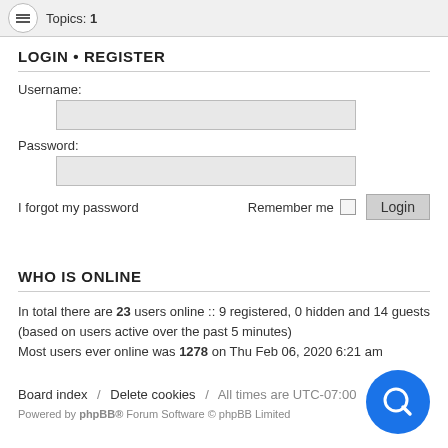Topics: 1
LOGIN • REGISTER
Username:
Password:
I forgot my password    Remember me    Login
WHO IS ONLINE
In total there are 23 users online :: 9 registered, 0 hidden and 14 guests (based on users active over the past 5 minutes)
Most users ever online was 1278 on Thu Feb 06, 2020 6:21 am
Board index / Delete cookies / All times are UTC-07:00
Powered by phpBB® Forum Software © phpBB Limited